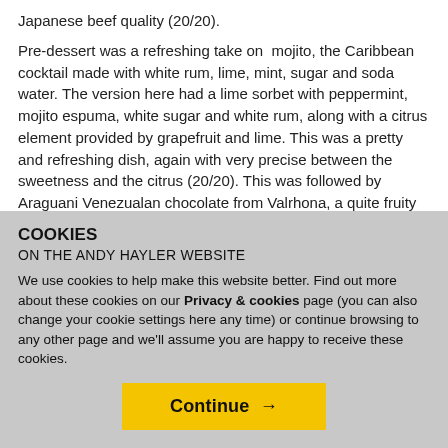Japanese beef quality (20/20).
Pre-dessert was a refreshing take on  mojito, the Caribbean cocktail made with white rum, lime, mint, sugar and soda water. The version here had a lime sorbet with peppermint, mojito espuma, white sugar and white rum, along with a citrus element provided by grapefruit and lime. This was a pretty and refreshing dish, again with very precise between the sweetness and the citrus (20/20). This was followed by Araguani Venezualan chocolate from Valrhona, a quite fruity chocolate, here with a pair of sorbets, one of pink
COOKIES
ON THE ANDY HAYLER WEBSITE
We use cookies to help make this website better. Find out more about these cookies on our Privacy & cookies page (you can also change your cookie settings here any time) or continue browsing to any other page and we'll assume you are happy to receive these cookies.
Continue →